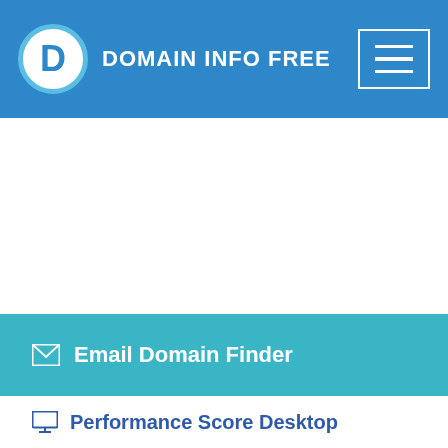DOMAIN INFO FREE
[Figure (other): White blank content area (advertisement placeholder)]
Email Domain Finder
Performance Score Desktop